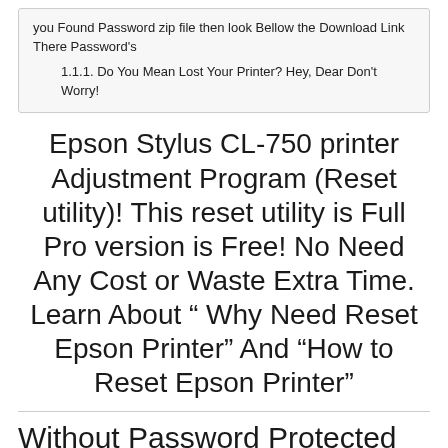you Found Password zip file then look Bellow the Download Link There Password's
1.1.1. Do You Mean Lost Your Printer? Hey, Dear Don't Worry!
Epson Stylus CL-750 printer Adjustment Program (Reset utility)! This reset utility is Full Pro version is Free! No Need Any Cost or Waste Extra Time. Learn About " Why Need Reset Epson Printer" And "How to Reset Epson Printer"
Without Password Protected Zip